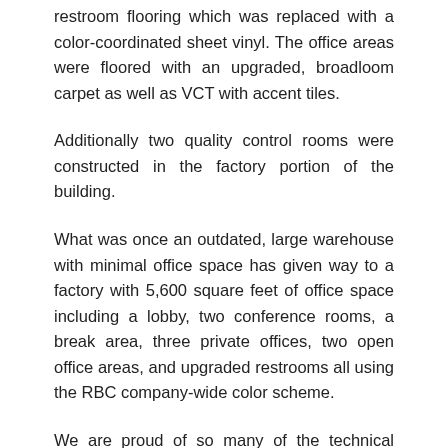restroom flooring which was replaced with a color-coordinated sheet vinyl. The office areas were floored with an upgraded, broadloom carpet as well as VCT with accent tiles.
Additionally two quality control rooms were constructed in the factory portion of the building.
What was once an outdated, large warehouse with minimal office space has given way to a factory with 5,600 square feet of office space including a lobby, two conference rooms, a break area, three private offices, two open office areas, and upgraded restrooms all using the RBC company-wide color scheme.
We are proud of so many of the technical aspects of this project for which, unfortunately, photos cannot do justice. We were honored to present our client with a stylish and functional, safe factory and office space.